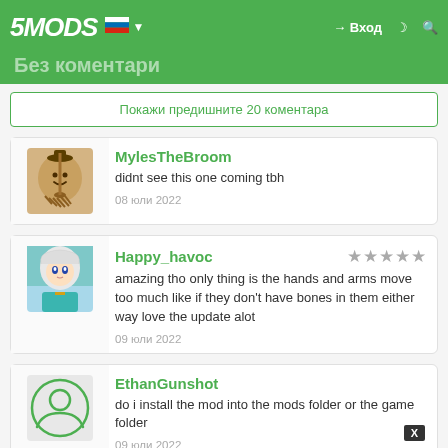5MODS | Вход
Без коментари
Покажи предишните 20 коментара
MylesTheBroom
didnt see this one coming tbh
08 юли 2022
Happy_havoc
amazing tho only thing is the hands and arms move too much like if they don't have bones in them either way love the update alot
09 юли 2022
EthanGunshot
do i install the mod into the mods folder or the game folder
09 юли 2022